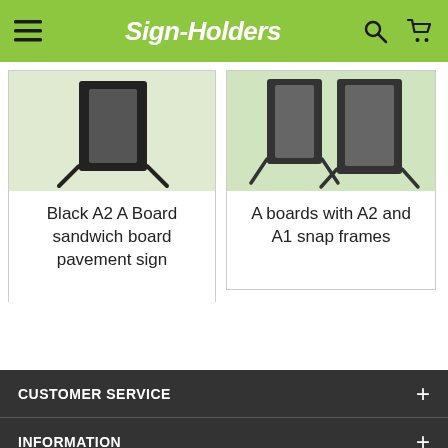Sign-Holders
[Figure (screenshot): Product card showing black A2 A board sandwich board pavement sign]
Black A2 A Board sandwich board pavement sign
[Figure (screenshot): Product card showing A boards with A2 and A1 snap frames]
A boards with A2 and A1 snap frames
CUSTOMER SERVICE | INFORMATION | VIEW OUR